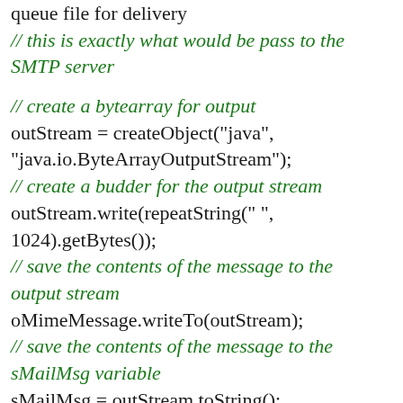queue file for delivery
// this is exactly what would be pass to the SMTP server

// create a bytearray for output
outStream = createObject("java", "java.io.ByteArrayOutputStream");
// create a budder for the output stream
outStream.write(repeatString(" ", 1024).getBytes());
// save the contents of the message to the output stream
oMimeMessage.writeTo(outStream);
// save the contents of the message to the sMailMsg variable
sMailMsg = outStream.toString();